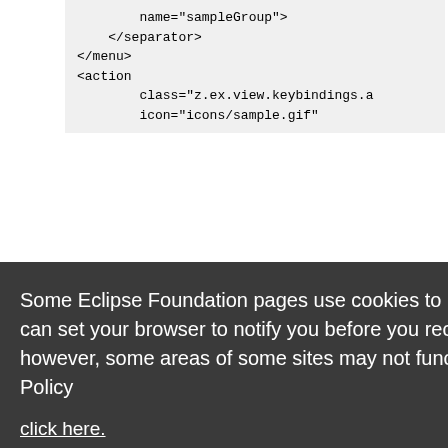name="sampleGroup">
    </separator>
</menu>
<action
        class="z.ex.view.keybindings.a
        icon="icons/sample.gif"
Some Eclipse Foundation pages use cookies to better serve you when you return to the site. You can set your browser to notify you before you receive a cookie or turn off cookies. If you do so, however, some areas of some sites may not function properly. To read Eclipse Foundation Privacy Policy
click here.
Decline
Allow cookies
the various popup menus in eclipse. They take 2